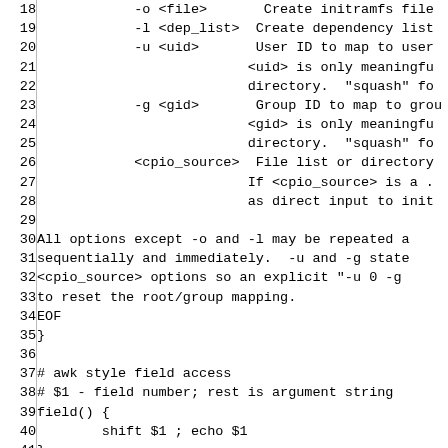Source code listing lines 18-47 showing shell script with command line options and function definitions including field() and filetype()